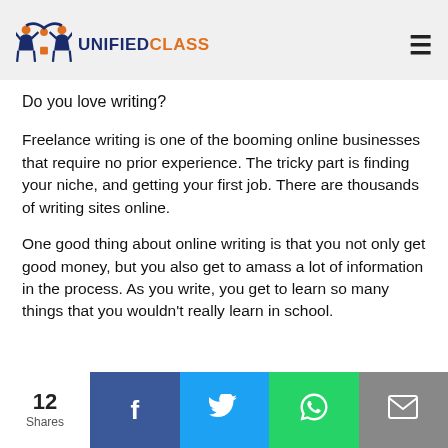UNIFIEDCLASS
Do you love writing?
Freelance writing is one of the booming online businesses that require no prior experience. The tricky part is finding your niche, and getting your first job. There are thousands of writing sites online.
One good thing about online writing is that you not only get good money, but you also get to amass a lot of information in the process. As you write, you get to learn so many things that you wouldn't really learn in school.
12 Shares | Facebook | Twitter | WhatsApp | Email